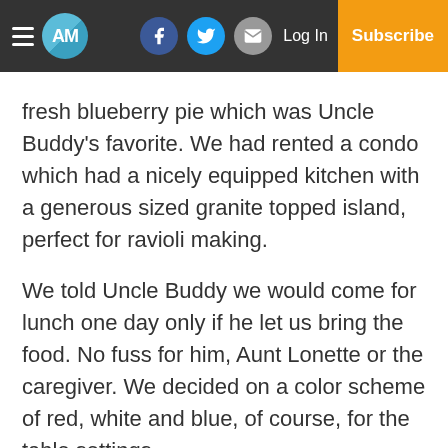AM | Log In | Subscribe
fresh blueberry pie which was Uncle Buddy's favorite. We had rented a condo which had a nicely equipped kitchen with a generous sized granite topped island, perfect for ravioli making.
We told Uncle Buddy we would come for lunch one day only if he let us bring the food. No fuss for him, Aunt Lonette or the caregiver. We decided on a color scheme of red, white and blue, of course, for the table settings.
We managed to keep the secret all the way to the table. I can't tell you the pleasure it gave us to share